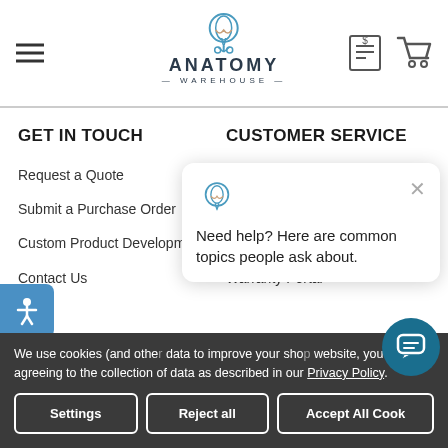Anatomy Warehouse
GET IN TOUCH
Request a Quote
Submit a Purchase Order
Custom Product Development
Contact Us
CUSTOMER SERVICE
Shipping Info
Request a Return
International Shipping
Warranty Portal
Need help? Here are common topics people ask about.
We use cookies (and other) data to improve your sho... website, you're agreeing to the collection of data as described in our Privacy Policy.